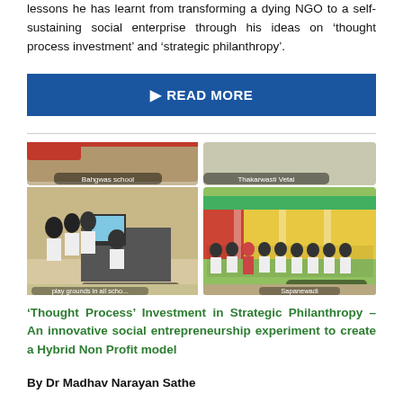lessons he has learnt from transforming a dying NGO to a self-sustaining social enterprise through his ideas on 'thought process investment' and 'strategic philanthropy'.
READ MORE
[Figure (photo): Photo collage showing school children at computers (Bahgwas school), children standing in front of colorful school building (Thakarwasti Vetal, Kahanewadi), and partially visible images of play grounds and Sapanewadi.]
'Thought Process' Investment in Strategic Philanthropy – An innovative social entrepreneurship experiment to create a Hybrid Non Profit model
By Dr Madhav Narayan Sathe